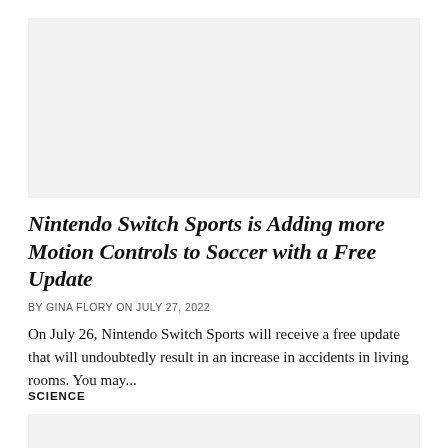[Figure (photo): Large image placeholder area at top of page, light gray background]
Nintendo Switch Sports is Adding more Motion Controls to Soccer with a Free Update
BY GINA FLORY ON JULY 27, 2022
On July 26, Nintendo Switch Sports will receive a free update that will undoubtedly result in an increase in accidents in living rooms. You may...
SCIENCE
[Figure (photo): Partial image placeholder at bottom of page, light gray background]